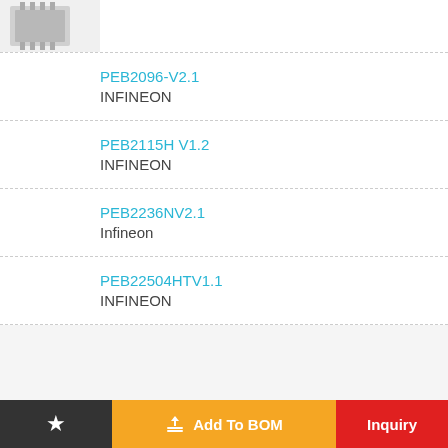[Figure (photo): Partial view of a chip/IC component image at top left]
PEB2096-V2.1
INFINEON
PEB2115H V1.2
INFINEON
PEB2236NV2.1
Infineon
PEB22504HTV1.1
INFINEON
★  Add To BOM  Inquiry